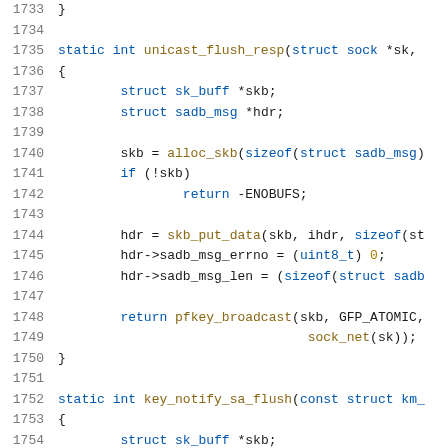Source code listing, lines 1733-1754, C language kernel networking code showing unicast_flush_resp and key_notify_sa_flush functions.